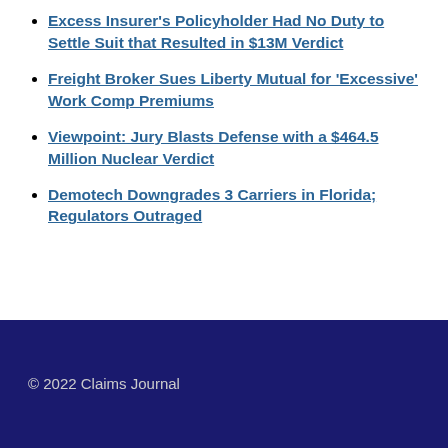Excess Insurer's Policyholder Had No Duty to Settle Suit that Resulted in $13M Verdict
Freight Broker Sues Liberty Mutual for 'Excessive' Work Comp Premiums
Viewpoint: Jury Blasts Defense with a $464.5 Million Nuclear Verdict
Demotech Downgrades 3 Carriers in Florida; Regulators Outraged
© 2022 Claims Journal